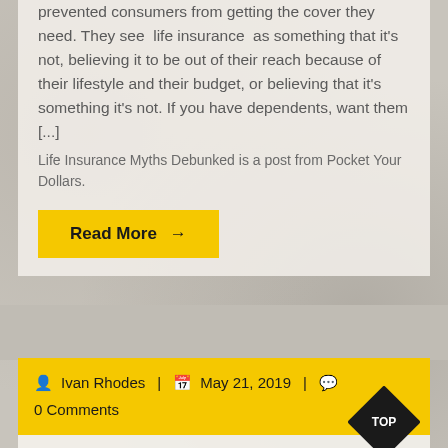prevented consumers from getting the cover they need. They see life insurance as something that it's not, believing it to be out of their reach because of their lifestyle and their budget, or believing that it's something it's not. If you have dependents, want them [...]
Life Insurance Myths Debunked is a post from Pocket Your Dollars.
Read More →
Ivan Rhodes | May 21, 2019 | 0 Comments
Coleman Blackcat Perfectemp Catalytic Heater